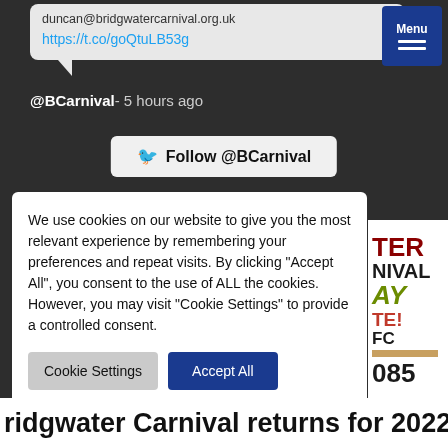duncan@bridgwatercarnival.org.uk
https://t.co/goQtuLB53g
@BCarnival- 5 hours ago
Follow @BCarnival
We use cookies on our website to give you the most relevant experience by remembering your preferences and repeat visits. By clicking "Accept All", you consent to the use of ALL the cookies. However, you may visit "Cookie Settings" to provide a controlled consent.
Cookie Settings
Accept All
[Figure (screenshot): Partial view of a Bridgwater Carnival event graphic showing text: TER, NIVAL, AY, TE!, FC, 085]
ridgwater Carnival returns for 2022